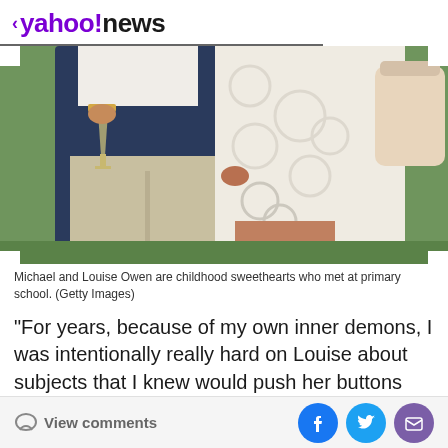< yahoo!news
[Figure (photo): Torso-level photo of a man in a navy blazer holding a champagne glass and a woman in a white lace dress with a beige handbag, standing on grass at an outdoor event.]
Michael and Louise Owen are childhood sweethearts who met at primary school. (Getty Images)
"For years, because of my own inner demons, I was intentionally really hard on Louise about subjects that I knew would push her buttons most — not least her close
View comments